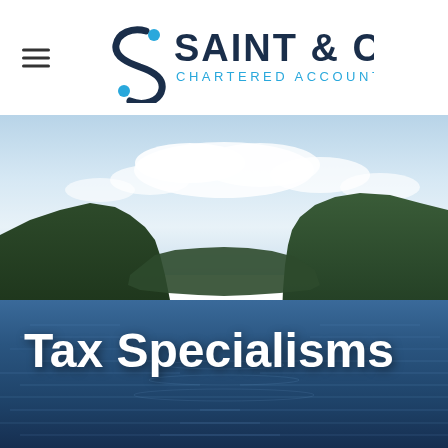[Figure (logo): Saint & Co Chartered Accountants logo with stylized S and blue dots]
[Figure (photo): Scenic landscape photo of a Scottish loch surrounded by hills and mountains under cloudy sky with 'Tax Specialisms' text overlaid in white bold font]